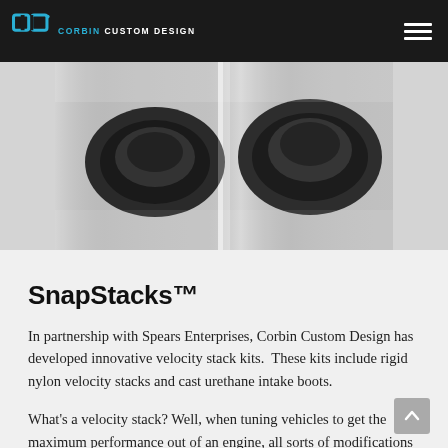CORBIN CUSTOM DESIGN
[Figure (photo): Product photo showing black rubber velocity stack components in a clear plastic bag, on a gray background]
SnapStacks™
In partnership with Spears Enterprises, Corbin Custom Design has developed innovative velocity stack kits.  These kits include rigid nylon velocity stacks and cast urethane intake boots.
What's a velocity stack? Well, when tuning vehicles to get the maximum performance out of an engine, all sorts of modifications are often made to the exhaust.